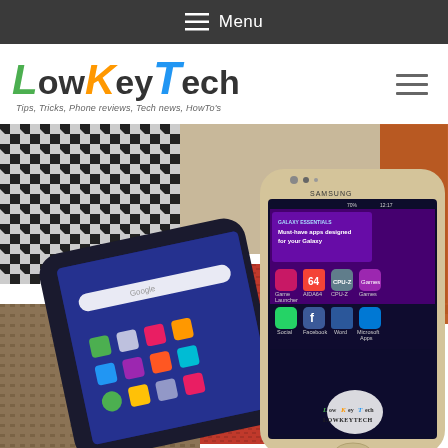≡ Menu
[Figure (logo): LowKeyTech logo with colorful styled text and tagline: Tips, Tricks, Phone reviews, Tech news, HowTo's]
[Figure (photo): Two Samsung Galaxy S7 smartphones laid on colorful fabric/textile backgrounds. The left phone shows a blue Android home screen with Google search bar and app icons. The right phone (Gold Samsung Galaxy S7 Edge) shows a home screen with Samsung Galaxy Essentials banner, app icons including Game Launcher, AIDA64, CPU-Z, Games, Social, Facebook, Word, Microsoft Apps. A LowKeyTech watermark logo is visible in the lower right corner of the image.]